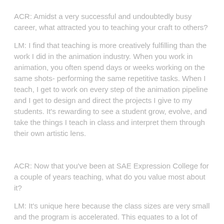ACR: Amidst a very successful and undoubtedly busy career, what attracted you to teaching your craft to others?
LM: I find that teaching is more creatively fulfilling than the work I did in the animation industry. When you work in animation, you often spend days or weeks working on the same shots- performing the same repetitive tasks. When I teach, I get to work on every step of the animation pipeline and I get to design and direct the projects I give to my students. It's rewarding to see a student grow, evolve, and take the things I teach in class and interpret them through their own artistic lens.
ACR: Now that you've been at SAE Expression College for a couple of years teaching, what do you value most about it?
LM: It's unique here because the class sizes are very small and the program is accelerated. This equates to a lot of class hours each week. Because of this, the students and I get to know each other quite well. This year, my students threw me a surprise birthday party